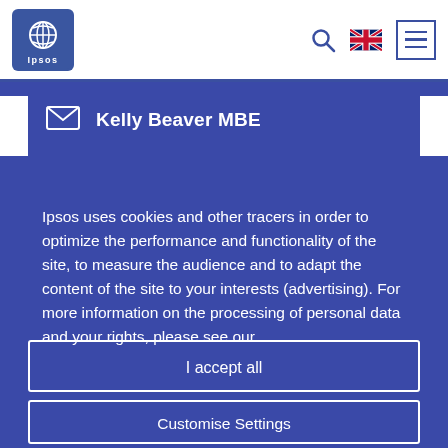[Figure (logo): Ipsos logo — blue rounded square with globe icon and 'Ipsos' text in white]
Kelly Beaver MBE
Ipsos uses cookies and other tracers in order to optimize the performance and functionality of the site, to measure the audience and to adapt the content of the site to your interests (advertising). For more information on the processing of personal data and your rights, please see our
I accept all
Customise Settings